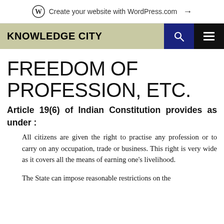Create your website with WordPress.com →
KNOWLEDGE CITY
FREEDOM OF PROFESSION, ETC.
Article 19(6) of Indian Constitution provides as under :
All citizens are given the right to practise any profession or to carry on any occupation, trade or business. This right is very wide as it covers all the means of earning one's livelihood.
The State can impose reasonable restrictions on the